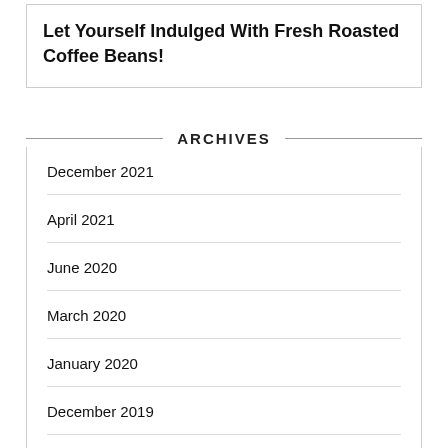Let Yourself Indulged With Fresh Roasted Coffee Beans!
ARCHIVES
December 2021
April 2021
June 2020
March 2020
January 2020
December 2019
September 2019